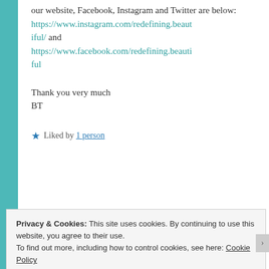our website, Facebook, Instagram and Twitter are below: https://www.instagram.com/redefining.beautiful/ and https://www.facebook.com/redefining.beautiful
Thank you very much
BT
★ Liked by 1 person
Privacy & Cookies: This site uses cookies. By continuing to use this website, you agree to their use.
To find out more, including how to control cookies, see here: Cookie Policy
Close and accept